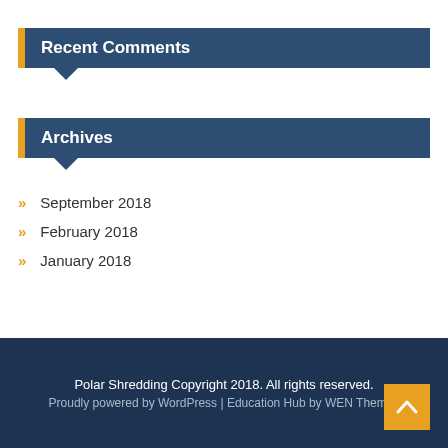Recent Comments
Archives
September 2018
February 2018
January 2018
Polar Shredding Copyright 2018. All rights reserved. Proudly powered by WordPress | Education Hub by WEN Themes